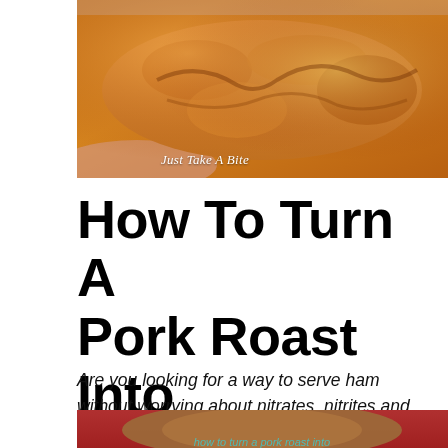[Figure (photo): Close-up photo of roasted pork with golden-brown crispy skin on a plate, with watermark text 'Just Take A Bite' in the lower left corner]
How To Turn A Pork Roast Into Ham
Are you looking for a way to serve ham without worrying about nitrates, nitrites and fillers? Make your own! You can easily turn a pork roast into ham in your crockpot.
[Figure (photo): Partial photo at bottom of page showing what appears to be a pork roast or ham in a red crockpot, with teal text overlay partially visible at the bottom]